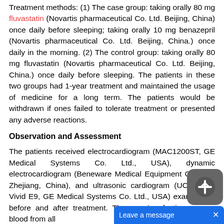Treatment methods: (1) The case group: taking orally 80 mg fluvastatin (Novartis pharmaceutical Co. Ltd. Beijing, China) once daily before sleeping; taking orally 10 mg benazepril (Novartis pharmaceutical Co. Ltd. Beijing, China.) once daily in the morning. (2) The control group: taking orally 80 mg fluvastatin (Novartis pharmaceutical Co. Ltd. Beijing, China.) once daily before sleeping. The patients in these two groups had 1-year treatment and maintained the usage of medicine for a long term. The patients would be withdrawn if ones failed to tolerate treatment or presented any adverse reactions.
Observation and Assessment
The patients received electrocardiogram (MAC1200ST, GE Medical Systems Co. Ltd., USA), dynamic electrocardiogram (Beneware Medical Equipment Co. Ltd., Zhejiang, China), and ultrasonic cardiogram (UCG) (GE Vivid E9, GE Medical Systems Co. Ltd., USA) examination before and after treatment. The morning fasting venous blood from all